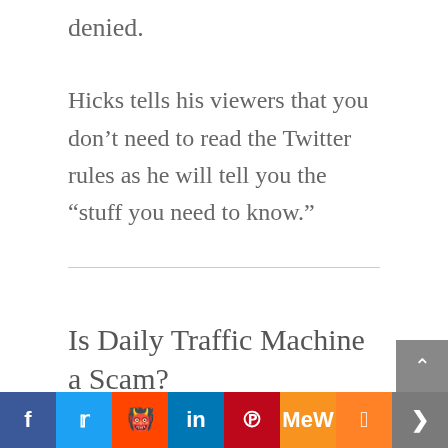denied.
Hicks tells his viewers that you don’t need to read the Twitter rules as he will tell you the “stuff you need to know.”
Is Daily Traffic Machine a Scam?
I do not believe Daily Traffic Machine is a scam but rather training on using more than
[Figure (other): Social sharing buttons bar at bottom: Facebook, Twitter, Reddit, LinkedIn, Pinterest, MeWe, Mix, Share]